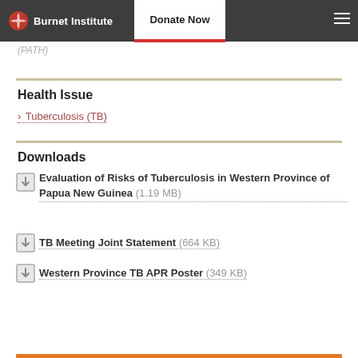Burnet Institute | Donate Now
(PATH)
Health Issue
› Tuberculosis (TB)
Downloads
Evaluation of Risks of Tuberculosis in Western Province of Papua New Guinea (1.19 MB)
TB Meeting Joint Statement (664 KB)
Western Province TB APR Poster (349 KB)